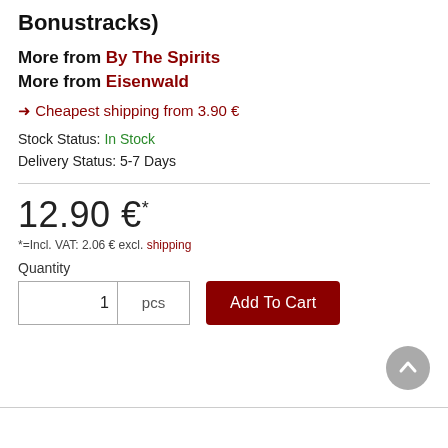Bonustracks)
More from By The Spirits
More from Eisenwald
→ Cheapest shipping from 3.90 €
Stock Status: In Stock
Delivery Status: 5-7 Days
12.90 €*
*=Incl. VAT: 2.06 € excl. shipping
Quantity
1 pcs | Add To Cart